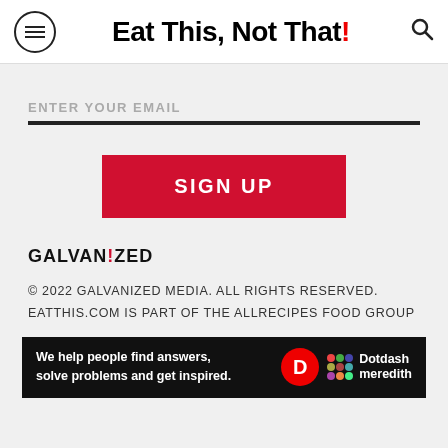Eat This, Not That!
ENTER YOUR EMAIL
SIGN UP
GALVANIZED
© 2022 GALVANIZED MEDIA. ALL RIGHTS RESERVED. EATTHIS.COM IS PART OF THE ALLRECIPES FOOD GROUP
[Figure (infographic): Dotdash Meredith ad banner: 'We help people find answers, solve problems and get inspired.' with D circle logo and Dotdash meredith branding]